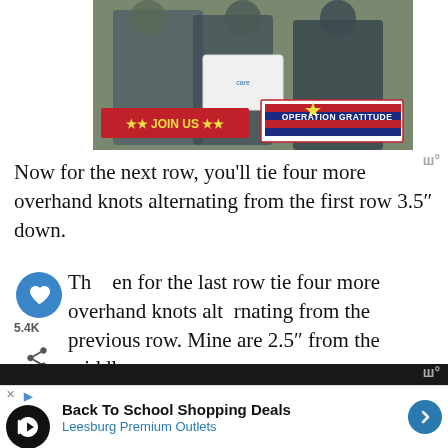[Figure (photo): Photo of military personnel in camouflage uniforms handing a white box to a civilian woman, with JOIN US banner in red and Operation Gratitude logo overlay]
Now for the next row, you'll tie four more overhand knots alternating from the first row 3.5" down.
Then for the last row tie four more overhand knots alternating from the previous row. Mine are 2.5" from the middle row.
I wanted the last row of knots to rest just under the po
[Figure (other): Advertisement: Back To School Shopping Deals - Leesburg Premium Outlets]